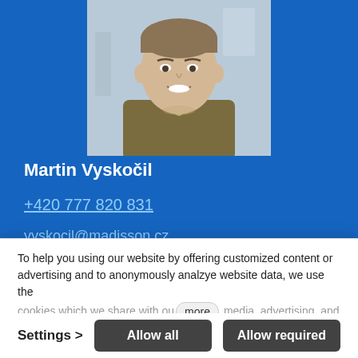[Figure (photo): Portrait photo of Martin Vyskočil, a young man in a olive/khaki shirt, smiling, in an indoor setting with light background.]
Martin Vyskočil
+420 777 820 831
vyskocil@madisson.cz
To help you using our website by offering customized content or advertising and to anonymously analzye website data, we use the cookies which we share with our more media, advertising, and
Settings >
Allow all
Allow required